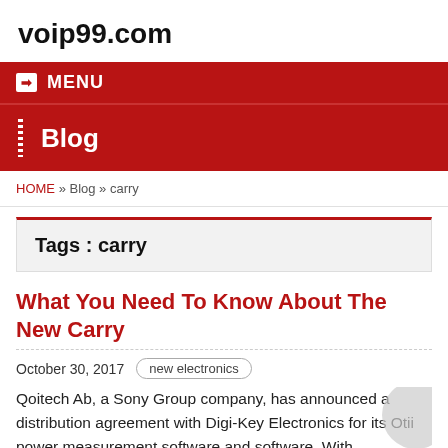voip99.com
MENU
Blog
HOME » Blog » carry
Tags : carry
What You Need To Know About The New Carry
October 30, 2017   new electronics
Qoitech Ab, a Sony Group company, has announced a distribution agreement with Digi-Key Electronics for its Otii power measurement software and software. With